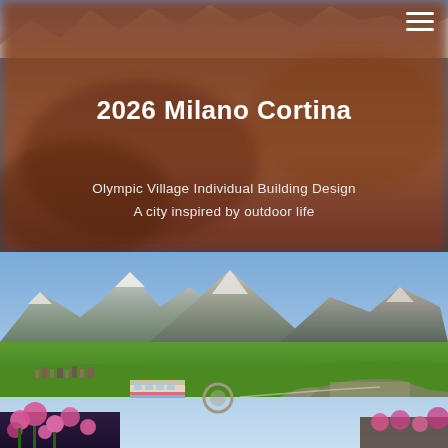[Figure (photo): Blurred reddish-brown mountain landscape background covering the upper portion of the page, with a strip of snowy mountain peaks visible near the top]
2026 Milano Cortina
Olympic Village Individual Building Design
A city inspired by outdoor life
[Figure (photo): Photograph of Livigno alpine village with green meadows, mountain peaks in the background, a bus at a roundabout, and pink flowers in the foreground]